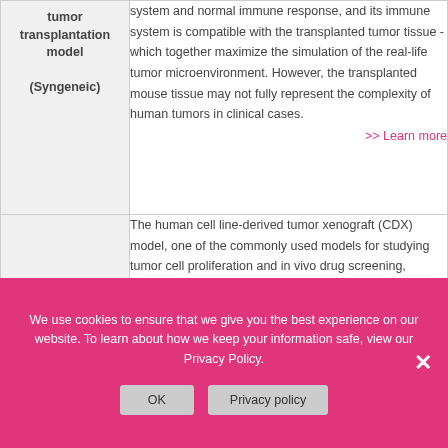| Model | Description |
| --- | --- |
| tumor transplantation model (Syngeneic) | system and normal immune response, and its immune system is compatible with the transplanted tumor tissue - which together maximize the simulation of the real-life tumor microenvironment. However, the transplanted mouse tissue may not fully represent the complexity of human tumors in clinical cases.
>> Learn more |
|  | The human cell line-derived tumor xenograft (CDX) model, one of the commonly used models for studying tumor cell proliferation and in vivo drug screening, involves |
We use cookies to ensure that we give you the best experience on our website. To learn about how we keep your information safe, view our Privacy Policy.